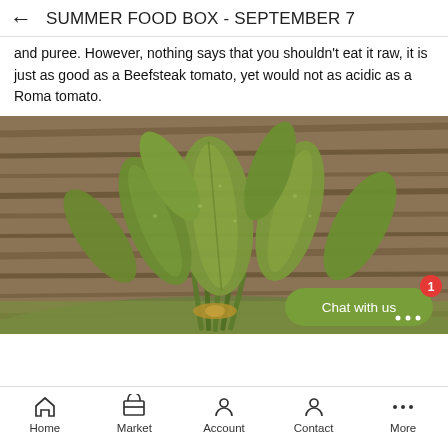← SUMMER FOOD BOX - SEPTEMBER 7
and puree. However, nothing says that you shouldn't eat it raw, it is just as good as a Beefsteak tomato, yet would not as acidic as a Roma tomato.
[Figure (photo): A bundle of fresh sage leaves tied together with twine, placed on a wooden surface with a green cloth underneath.]
Chat with us
Home | Market | Account | Contact | More